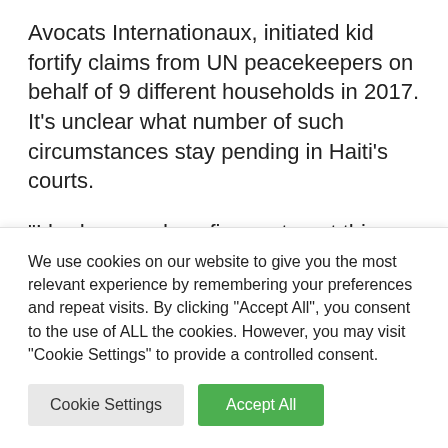Avocats Internationaux, initiated kid fortify claims from UN peacekeepers on behalf of 9 different households in 2017. It’s unclear what number of such circumstances stay pending in Haiti’s courts.
“I had crossed my fingers to get this ruling because if there’s one, we will get more,” mentioned Mario Joseph, the company’s
We use cookies on our website to give you the most relevant experience by remembering your preferences and repeat visits. By clicking “Accept All”, you consent to the use of ALL the cookies. However, you may visit "Cookie Settings" to provide a controlled consent.